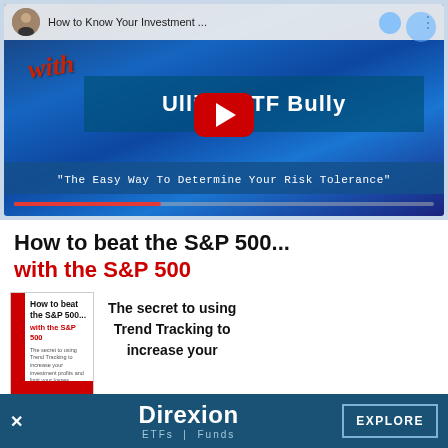[Figure (screenshot): YouTube video thumbnail showing 'How to Know Your Investment...' with Ulli ETF Bully branding and subtitle 'The Easy Way To Determine Your Risk Tolerance'. Red YouTube play button in center.]
How to beat the S&P 500...
with the S&P 500
[Figure (photo): Book cover for 'How to beat the S&P 500... with the S&P 500' with red spine and design.]
The secret to using Trend Tracking to increase your
[Figure (logo): Direxion ETFs | Funds advertisement banner with EXPLORE button]